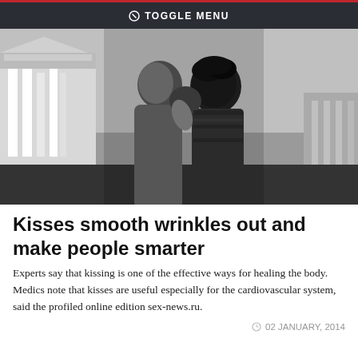TOGGLE MENU
[Figure (photo): Black and white photograph of a couple kissing outdoors with classical columns/architecture in the background]
Kisses smooth wrinkles out and make people smarter
Experts say that kissing is one of the effective ways for healing the body.
Medics note that kisses are useful especially for the cardiovascular system, said the profiled online edition sex-news.ru.
02 JANUARY, 2014